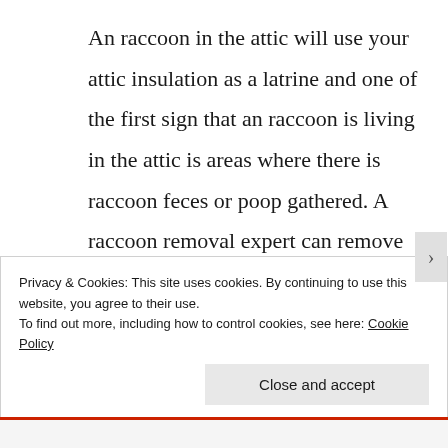An raccoon in the attic will use your attic insulation as a latrine and one of the first sign that an raccoon is living in the attic is areas where there is raccoon feces or poop gathered. A raccoon removal expert can remove the animal feces and contaminated material as well as trap the
Privacy & Cookies: This site uses cookies. By continuing to use this website, you agree to their use.
To find out more, including how to control cookies, see here: Cookie Policy
Close and accept